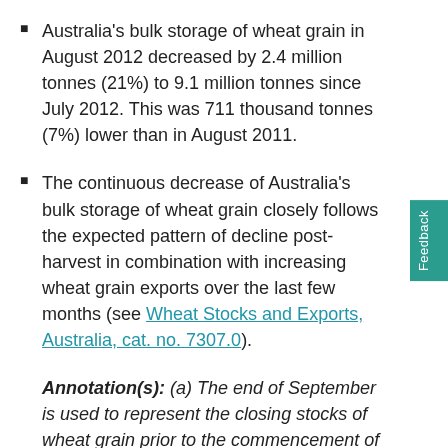Australia's bulk storage of wheat grain in August 2012 decreased by 2.4 million tonnes (21%) to 9.1 million tonnes since July 2012. This was 711 thousand tonnes (7%) lower than in August 2011.
The continuous decrease of Australia's bulk storage of wheat grain closely follows the expected pattern of decline post-harvest in combination with increasing wheat grain exports over the last few months (see Wheat Stocks and Exports, Australia, cat. no. 7307.0).
Annotation(s): (a) The end of September is used to represent the closing stocks of wheat grain prior to the commencement of the next harvest period (October to